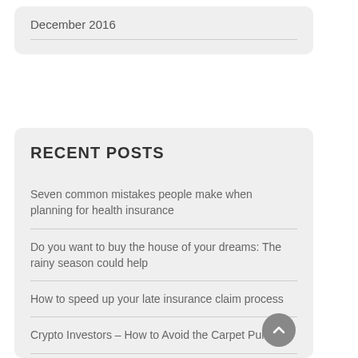December 2016
RECENT POSTS
Seven common mistakes people make when planning for health insurance
Do you want to buy the house of your dreams: The rainy season could help
How to speed up your late insurance claim process
Crypto Investors – How to Avoid the Carpet Pull
How safe is it to invest in a recession-hit stock market